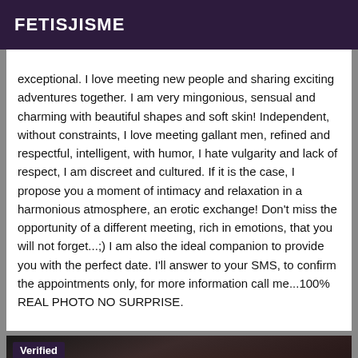FETISJISME
exceptional. I love meeting new people and sharing exciting adventures together. I am very mingonious, sensual and charming with beautiful shapes and soft skin! Independent, without constraints, I love meeting gallant men, refined and respectful, intelligent, with humor, I hate vulgarity and lack of respect, I am discreet and cultured. If it is the case, I propose you a moment of intimacy and relaxation in a harmonious atmosphere, an erotic exchange! Don't miss the opportunity of a different meeting, rich in emotions, that you will not forget...;) I am also the ideal companion to provide you with the perfect date. I'll answer to your SMS, to confirm the appointments only, for more information call me...100% REAL PHOTO NO SURPRISE.
[Figure (photo): Dark photo showing person in black leather/lace outfit with a 'Verified' badge overlay in the top-left corner.]